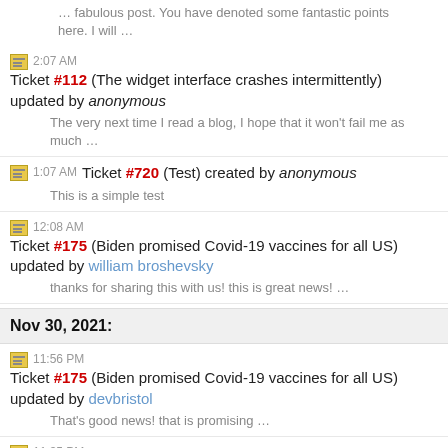… fabulous post. You have denoted some fantastic points here. I will …
2:07 AM Ticket #112 (The widget interface crashes intermittently) updated by anonymous
The very next time I read a blog, I hope that it won't fail me as much …
1:07 AM Ticket #720 (Test) created by anonymous
This is a simple test
12:08 AM Ticket #175 (Biden promised Covid-19 vaccines for all US) updated by william broshevsky
thanks for sharing this with us! this is great news! …
Nov 30, 2021:
11:56 PM Ticket #175 (Biden promised Covid-19 vaccines for all US) updated by devbristol
That's good news! that is promising …
11:35 PM Ticket #175 (Biden promised Covid-19 vaccines for all US) updated by mburgos